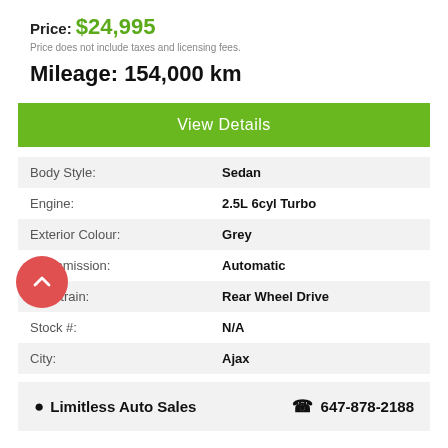Price: $24,995
Price does not include taxes and licensing fees.
Mileage: 154,000 km
View Details
| Label | Value |
| --- | --- |
| Body Style: | Sedan |
| Engine: | 2.5L 6cyl Turbo |
| Exterior Colour: | Grey |
| Transmission: | Automatic |
| Drivetrain: | Rear Wheel Drive |
| Stock #: | N/A |
| City: | Ajax |
Limitless Auto Sales   647-878-2188
Limitless Auto Sales Inc. is here to serve you! We have great vehicles for amazing prices!
Our finance solutions help you get into the car of your dreams for great